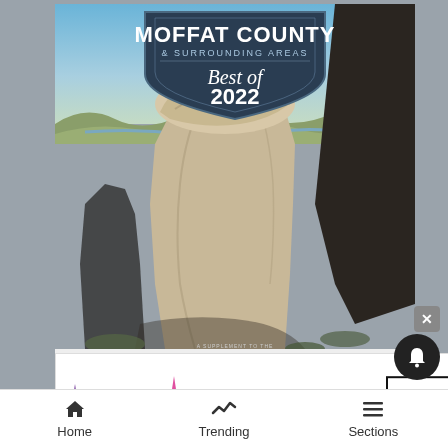[Figure (photo): Magazine cover for 'Moffat County & Surrounding Areas - Best of 2022' featuring a sandstone hoodoo rock formation in a desert landscape with blue sky]
[Figure (photo): MAC Cosmetics advertisement banner showing colorful lipsticks (purple, pink, hot pink) with MAC logo and 'SHOP NOW' button, and red lipstick on right side]
Home   Trending   Sections